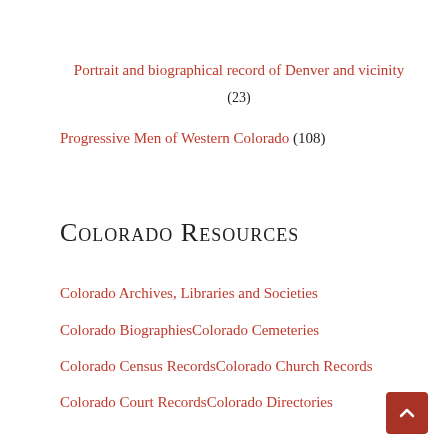Portrait and biographical record of Denver and vicinity (23)
Progressive Men of Western Colorado (108)
Colorado Resources
Colorado Archives, Libraries and Societies
Colorado BiographiesColorado Cemeteries
Colorado Census RecordsColorado Church Records
Colorado Court RecordsColorado Directories